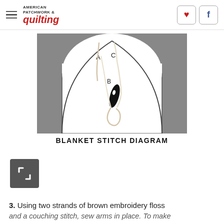AMERICAN PATCHWORK & quilting
[Figure (illustration): Blanket stitch diagram showing a needle and thread forming a stitch with points labeled A, B, and C. A white curved fabric shape on a gray background with a black needle at point B and thread forming a loop.]
BLANKET STITCH DIAGRAM
[Figure (other): Expand/fullscreen icon button — white corner bracket symbol on dark gray square background]
3. Using two strands of brown embroidery floss and a couching stitch, sew arms in place. To make a couching stitch, thread the needle with the first